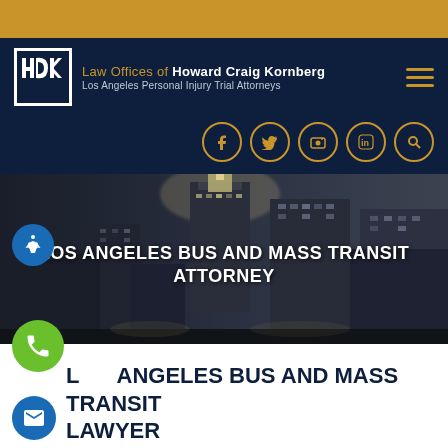[Figure (logo): HCK logo and firm name: Law Offices of Howard Craig Kornberg, Los Angeles Personal Injury Trial Attorneys]
[Figure (screenshot): Website header with social media icons (Facebook, Twitter, YouTube/store, LinkedIn, Search) on dark navy background]
[Figure (photo): Black and white photo of Los Angeles skyline with tall buildings at night, serving as hero banner background]
LOS ANGELES BUS AND MASS TRANSIT ATTORNEY
LOS ANGELES BUS AND MASS TRANSIT LAWYER